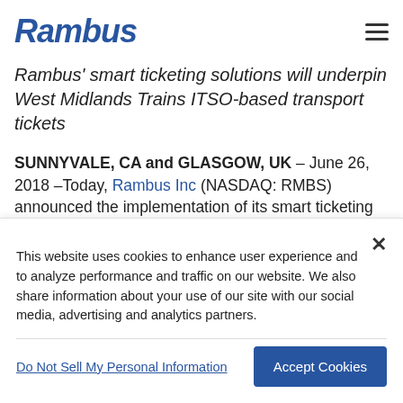Rambus
Rambus' smart ticketing solutions will underpin West Midlands Trains ITSO-based transport tickets
SUNNYVALE, CA and GLASGOW, UK – June 26, 2018 – Today, Rambus Inc (NASDAQ: RMBS) announced the implementation of its smart ticketing software, including a Host Operator or Processing System (HOPS), Card Management System (CMS) and mobile
This website uses cookies to enhance user experience and to analyze performance and traffic on our website. We also share information about your use of our site with our social media, advertising and analytics partners.
Do Not Sell My Personal Information | Accept Cookies